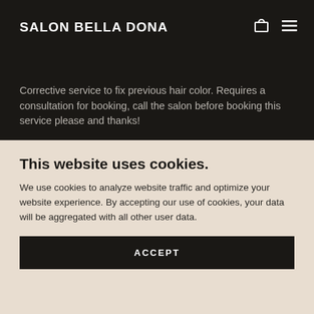SALON BELLA DONA
Corrective service to fix previous hair color. Requires a consultation for booking, call the salon before booking this service please and thanks!
This website uses cookies.
We use cookies to analyze website traffic and optimize your website experience. By accepting our use of cookies, your data will be aggregated with all other user data.
ACCEPT